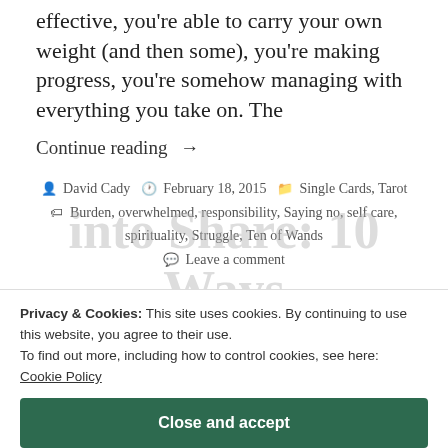effective, you're able to carry your own weight (and then some), you're making progress, you're somehow managing with everything you take on. The
Continue reading →
David Cady  February 18, 2015  Single Cards, Tarot  Burden, overwhelmed, responsibility, Saying no, self care, spirituality, Struggle, Ten of Wands  Leave a comment
Privacy & Cookies: This site uses cookies. By continuing to use this website, you agree to their use. To find out more, including how to control cookies, see here: Cookie Policy
Close and accept